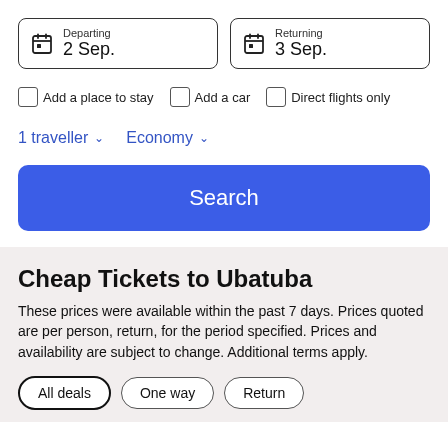[Figure (screenshot): Date selector showing Departing 2 Sep. and Returning 3 Sep.]
Add a place to stay
Add a car
Direct flights only
1 traveller   Economy
Search
Cheap Tickets to Ubatuba
These prices were available within the past 7 days. Prices quoted are per person, return, for the period specified. Prices and availability are subject to change. Additional terms apply.
All deals
One way
Return